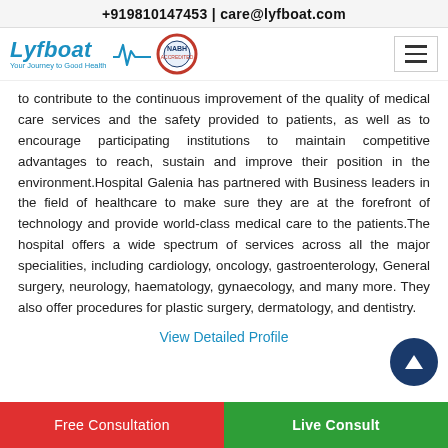+919810147453 | care@lyfboat.com
[Figure (logo): Lyfboat logo with tagline 'Your Journey to Good Health', heartbeat wave, NABH circle badge, and hamburger menu icon]
to contribute to the continuous improvement of the quality of medical care services and the safety provided to patients, as well as to encourage participating institutions to maintain competitive advantages to reach, sustain and improve their position in the environment.Hospital Galenia has partnered with Business leaders in the field of healthcare to make sure they are at the forefront of technology and provide world-class medical care to the patients.The hospital offers a wide spectrum of services across all the major specialities, including cardiology, oncology, gastroenterology, General surgery, neurology, haematology, gynaecology, and many more. They also offer procedures for plastic surgery, dermatology, and dentistry.
View Detailed Profile
Free Consultation | Live Consult